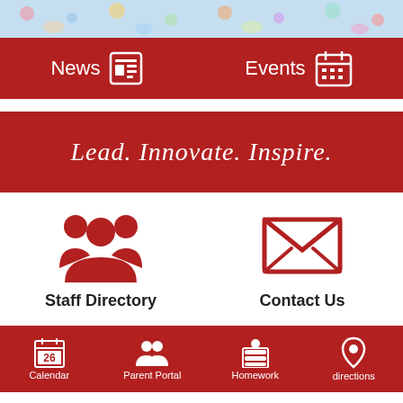[Figure (illustration): Colorful top banner with school/education themed illustrations on light blue background]
News
Events
Lead. Innovate. Inspire.
[Figure (illustration): Red group of people / staff directory icon]
[Figure (illustration): Red envelope / contact us icon]
Staff Directory
Contact Us
Calendar
Parent Portal
Homework
directions